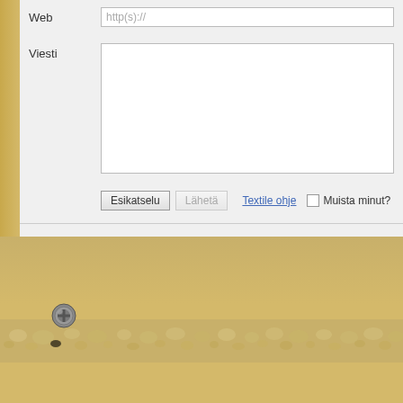Web
http(s)://
Viesti
Esikatselu  Lähetä  Textile ohje  Muista minut?
Edellinen artikkeli · Seuraava a
Käyttöehdot
[Figure (photo): Decorative sandy/golden background with bumpy texture and a screw bolt icon]